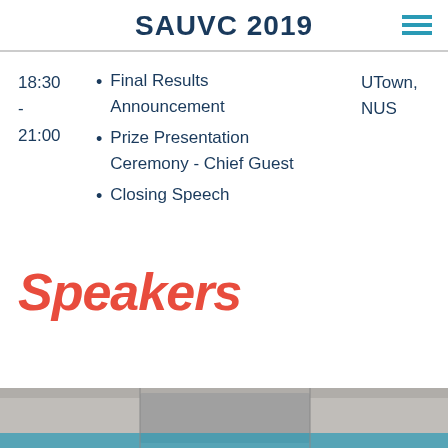SAUVC 2019
18:30
-
21:00
Final Results Announcement
Prize Presentation Ceremony - Chief Guest
Closing Speech
UTown, NUS
Speakers
[Figure (photo): Partial bottom photo of speakers or event]